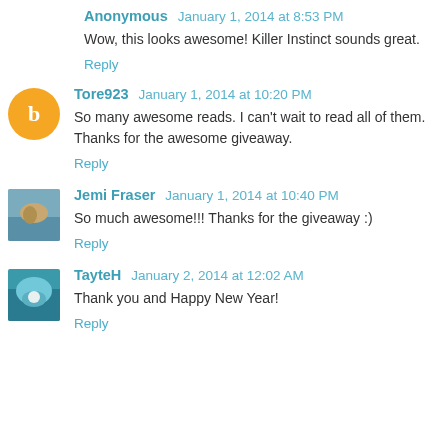Anonymous January 1, 2014 at 8:53 PM
Wow, this looks awesome! Killer Instinct sounds great.
Reply
Tore923 January 1, 2014 at 10:20 PM
So many awesome reads. I can't wait to read all of them. Thanks for the awesome giveaway.
Reply
Jemi Fraser January 1, 2014 at 10:40 PM
So much awesome!!! Thanks for the giveaway :)
Reply
TayteH January 2, 2014 at 12:02 AM
Thank you and Happy New Year!
Reply